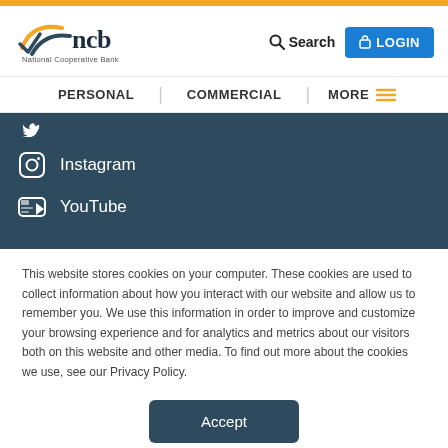[Figure (logo): NCB National Cooperative Bank logo with orange swoosh graphic]
Search
LOGIN
PERSONAL | COMMERCIAL | MORE
Instagram
YouTube
This website stores cookies on your computer. These cookies are used to collect information about how you interact with our website and allow us to remember you. We use this information in order to improve and customize your browsing experience and for analytics and metrics about our visitors both on this website and other media. To find out more about the cookies we use, see our Privacy Policy.
Accept